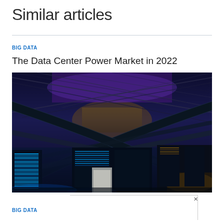Similar articles
BIG DATA
The Data Center Power Market in 2022
[Figure (photo): Interior of a large data center showing rows of server racks with blue lighting, overhead cable trays crossing diagonally, and warehouse-style roof structure]
BIG DATA